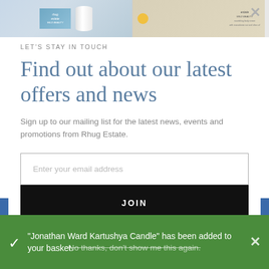[Figure (screenshot): Top strip showing product images: left side has blue Rhug Estate Wild Beauty product box and white cylindrical container; right side shows Estate Wild Beauty nourishing body cream with yellow sun icon; close X button top right]
LET'S STAY IN TOUCH
Find out about our latest offers and news
Sign up to our mailing list for the latest news, events and promotions from Rhug Estate.
Enter your email address
JOIN
"Jonathan Ward Kartushya Candle" has been added to your basket.
No thanks, don't show me this again.